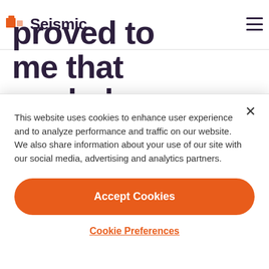[Figure (screenshot): Partial top image strip showing a blurred warm-toned photo at the top right corner of the page]
Seismic
proved to me that workplace training is most
This website uses cookies to enhance user experience and to analyze performance and traffic on our website. We also share information about your use of our site with our social media, advertising and analytics partners.
Accept Cookies
Cookie Preferences